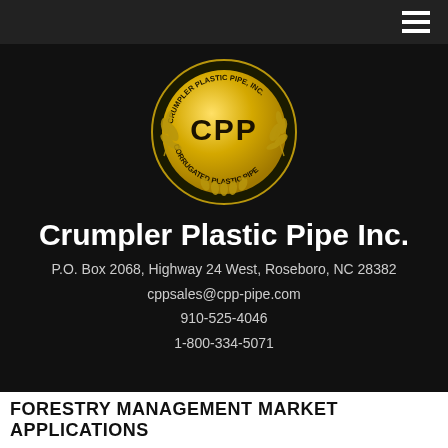[Figure (logo): Crumpler Plastic Pipe Inc. circular logo with CPP letters in center on gold coin background with wheat/laurel wreath decorations and text 'CRUMPLER PLASTIC PIPE, INC.' and 'CORRUGATED PLASTIC PIPE' around the rim]
Crumpler Plastic Pipe Inc.
P.O. Box 2068, Highway 24 West, Roseboro, NC 28382
cppsales@cpp-pipe.com
910-525-4046
1-800-334-5071
FORESTRY MANAGEMENT MARKET APPLICATIONS